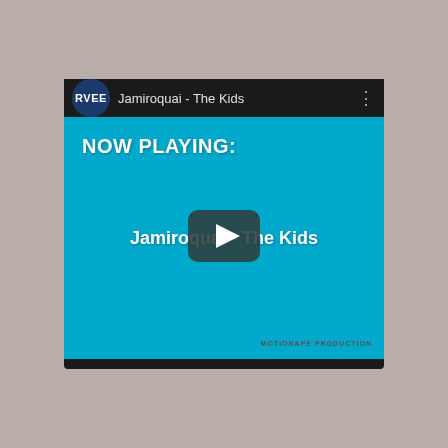[Figure (screenshot): YouTube-style video player screenshot showing 'Jamiroquai - The Kids' with a cyan/teal background, 'NOW PLAYING:' text overlay, 'Jamiroquai - The Kids' text with a play button overlay, and 'MOTIONAPE PRODUCTION' credit in the bottom right. The player has a dark top bar with an 'RVEE' avatar circle and video title.]